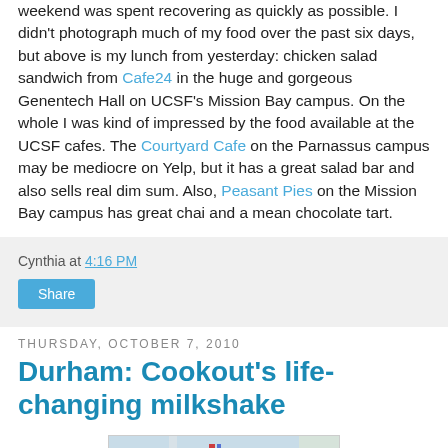weekend was spent recovering as quickly as possible. I didn't photograph much of my food over the past six days, but above is my lunch from yesterday: chicken salad sandwich from Cafe24 in the huge and gorgeous Genentech Hall on UCSF's Mission Bay campus. On the whole I was kind of impressed by the food available at the UCSF cafes. The Courtyard Cafe on the Parnassus campus may be mediocre on Yelp, but it has a great salad bar and also sells real dim sum. Also, Peasant Pies on the Mission Bay campus has great chai and a mean chocolate tart.
Cynthia at 4:16 PM
Share
Thursday, October 7, 2010
Durham: Cookout's life-changing milkshake
[Figure (photo): Partial photo of what appears to be a food item or drink, cropped at bottom of page]